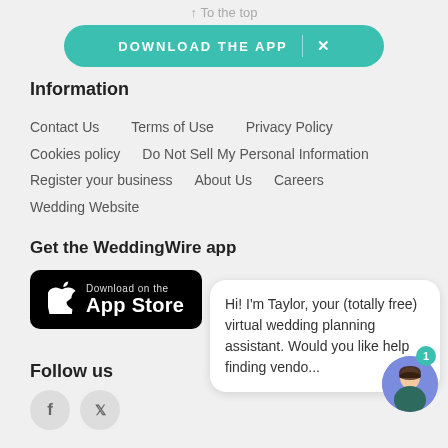↑ To the top
DOWNLOAD THE APP  ×
Information
Contact Us
Terms of Use
Privacy Policy
Cookies policy
Do Not Sell My Personal Information
Register your business
About Us
Careers
Wedding Website
Get the WeddingWire app
[Figure (logo): Download on the App Store button]
Follow us
Hi! I'm Taylor, your (totally free) virtual wedding planning assistant. Would you like help finding vendo...